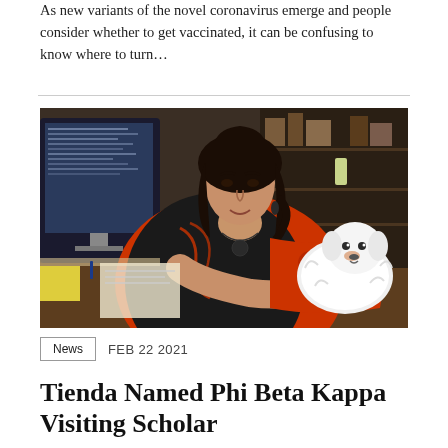As new variants of the novel coronavirus emerge and people consider whether to get vaccinated, it can be confusing to know where to turn…
[Figure (photo): A woman with dark curly hair wearing a black and red outfit sits at an office desk holding a small white dog. A computer monitor and office supplies are visible in the background.]
News   FEB 22 2021
Tienda Named Phi Beta Kappa Visiting Scholar